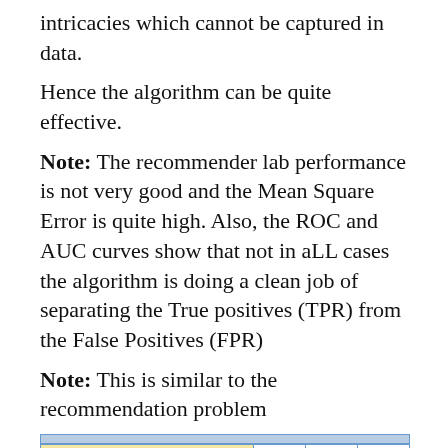intricacies which cannot be captured in data.
Hence the algorithm can be quite effective.
Note: The recommender lab performance is not very good and the Mean Square Error is quite high. Also, the ROC and AUC curves show that not in aLL cases the algorithm is doing a clean job of separating the True positives (TPR) from the False Positives (FPR)
Note: This is similar to the recommendation problem
| Movie | User 01 | User 02 | User 03 |
| --- | --- | --- | --- |
| Interstellar | 4 |  | 1 |
| Raiders of the lost Ark |  | 1 |  |
| Sleepless in Seattle |  | 5 | 2 |